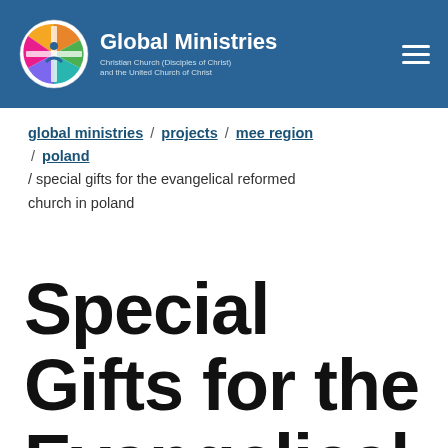Global Ministries — Christian Church (Disciples of Christ) and the United Church of Christ
global ministries / projects / mee region / poland / special gifts for the evangelical reformed church in poland
Special Gifts for the Evangelical Reformed Church in